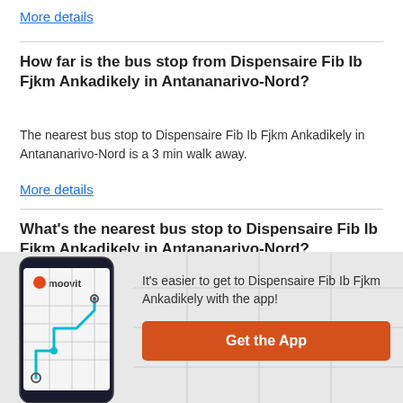More details
How far is the bus stop from Dispensaire Fib Ib Fjkm Ankadikely in Antananarivo-Nord?
The nearest bus stop to Dispensaire Fib Ib Fjkm Ankadikely in Antananarivo-Nord is a 3 min walk away.
More details
What’s the nearest bus stop to Dispensaire Fib Ib Fjkm Ankadikely in Antananarivo-Nord?
Terminus Belanitra and Terminus 163 Ankadikely Ilafy are the nearest bus stops to Dispensaire Fib Ib Fjkm Ankadikely in Antananarivo-Nord.
[Figure (screenshot): Moovit app phone screenshot with logo and route map illustration]
It’s easier to get to Dispensaire Fib Ib Fjkm Ankadikely with the app!
Get the App